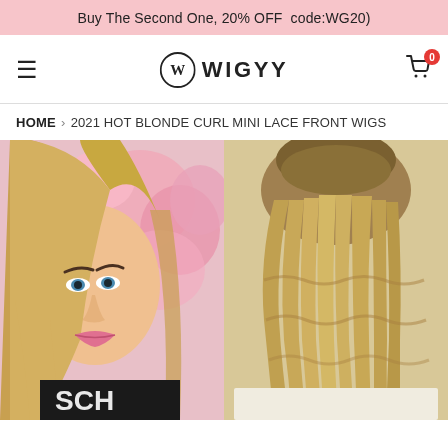Buy The Second One, 20% OFF  code:WG20)
[Figure (logo): WIGYY brand logo with stylized W in circle and WIGYY text]
HOME › 2021 HOT BLONDE CURL MINI LACE FRONT WIGS
[Figure (photo): Two product photos side by side: left shows a woman with long blonde wavy hair in front of pink flowers, right shows the back view of the same blonde wavy wig]